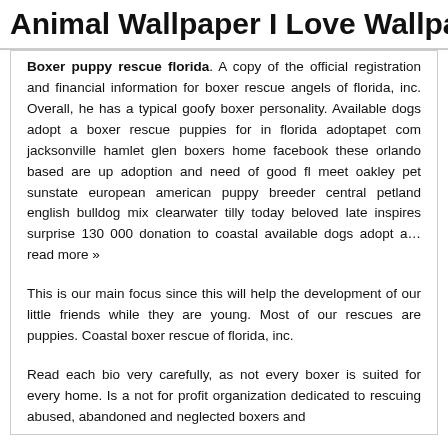Animal Wallpaper I Love Wallpaper
Boxer puppy rescue florida. A copy of the official registration and financial information for boxer rescue angels of florida, inc. Overall, he has a typical goofy boxer personality. Available dogs adopt a boxer rescue puppies for in florida adoptapet com jacksonville hamlet glen boxers home facebook these orlando based are up adoption and need of good fl meet oakley pet sunstate european american puppy breeder central petland english bulldog mix clearwater tilly today beloved late inspires surprise 130 000 donation to coastal available dogs adopt a… read more »
This is our main focus since this will help the development of our little friends while they are young. Most of our rescues are puppies. Coastal boxer rescue of florida, inc.
Read each bio very carefully, as not every boxer is suited for every home. Is a not for profit organization dedicated to rescuing abused, abandoned and neglected boxers and